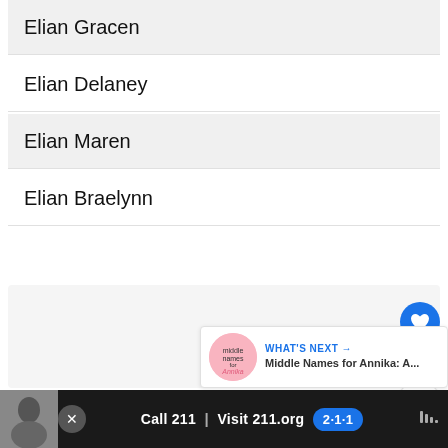Elian Gracen
Elian Delaney
Elian Maren
Elian Braelynn
[Figure (screenshot): Blue heart/like floating action button]
1
[Figure (screenshot): Share floating action button]
WHAT'S NEXT → Middle Names for Annika: A...
[Figure (screenshot): Bottom advertisement bar: Call 211 | Visit 211.org with 2-1-1 logo]